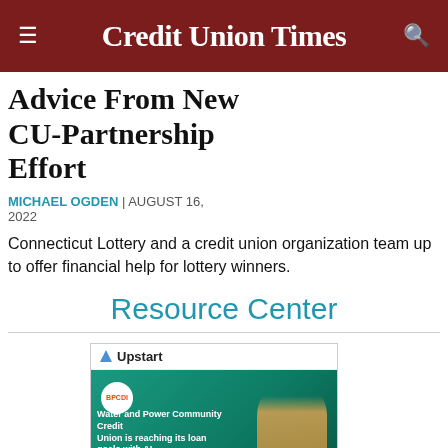Credit Union Times
Advice From New CU-Partnership Effort
MICHAEL OGDEN | AUGUST 16, 2022
Connecticut Lottery and a credit union organization team up to offer financial help for lottery winners.
Resource Center
[Figure (photo): Upstart advertisement banner featuring BPCDI logo, a person working on a laptop, with caption: Water and Power Community Credit Union is reaching its loan goals with AI]